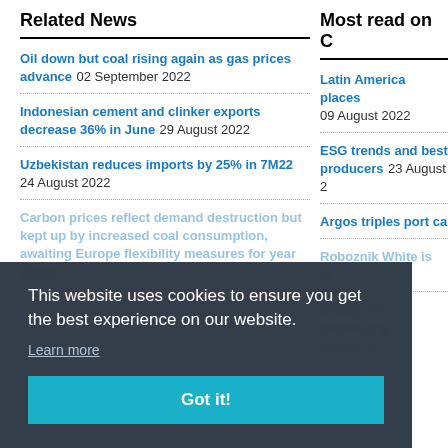Related News
Oil down but coal rising again as gas prices advance 02 September 2022
Indonesian cement and clinker exports decrease 36% in June 29 August 2022
Uzbekistan reduces imports by 25% in 7M22 24 August 2022
Carbon prices reflect demand destruction but kept up by increased coal consumption, awaiting Europe flexibility measures for year ahead
Most read on C
Latin America places 09 August 2022
ESG trends and best producers 23 August 2
Argos triples port ca
Roboznik White is gr
Sludge co-processing August 22
This website uses cookies to ensure you get the best experience on our website.
Learn more
Got it!